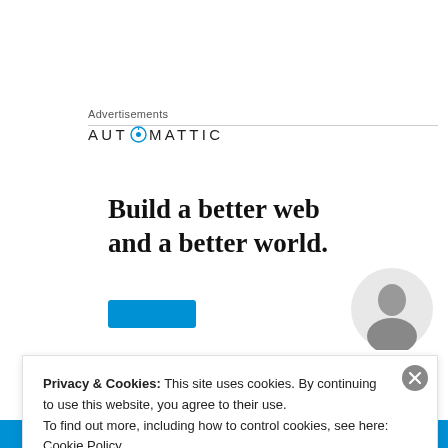Advertisements
[Figure (logo): Automattic logo with circular compass icon between 'AUT' and 'MATTIC', all caps spaced lettering]
Build a better web and a better world.
[Figure (illustration): Blue button and partial photo of a person's face on grey circular background]
Privacy & Cookies: This site uses cookies. By continuing to use this website, you agree to their use.
To find out more, including how to control cookies, see here: Cookie Policy
Close and accept